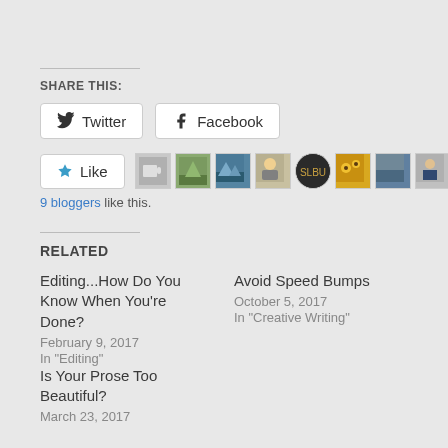SHARE THIS:
Twitter  Facebook
[Figure (other): Like button with star icon, followed by 9 blogger avatar thumbnails in a horizontal strip]
9 bloggers like this.
RELATED
Editing...How Do You Know When You're Done?
February 9, 2017
In "Editing"
Avoid Speed Bumps
October 5, 2017
In "Creative Writing"
Is Your Prose Too Beautiful?
March 23, 2017